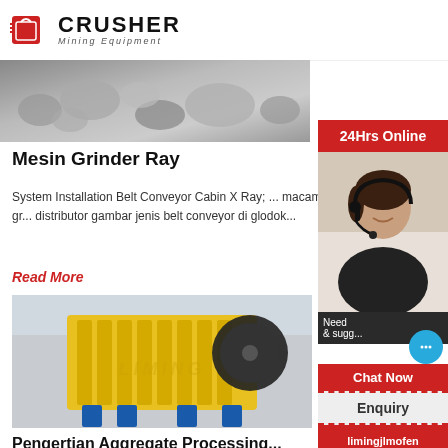CRUSHER Mining Equipment
[Figure (photo): Partial photo of crushed stone/gravel material, cropped at top]
Mesin Grinder Ray
System Installation Belt Conveyor Cabin X Ray; ... macam-macam belt pada mesin ... hitachi bg100 belt gr... distributor gambar jenis belt conveyor di glodok...
Read More
[Figure (photo): Yellow jaw crusher machine with blue base in industrial setting. LIMING watermark visible.]
Pengertian Aggregate Processing...
CGM quarry cruher grinder plant and ... hitachi b... grinder distributor ... Belt Conveyor dan Roll Conveyor.pengertian crushing : ...
Read More
[Figure (photo): Sidebar: 24Hrs Online banner with customer service representative wearing headset, chat now button, Enquiry section, email limingjlmofen@sina.com]